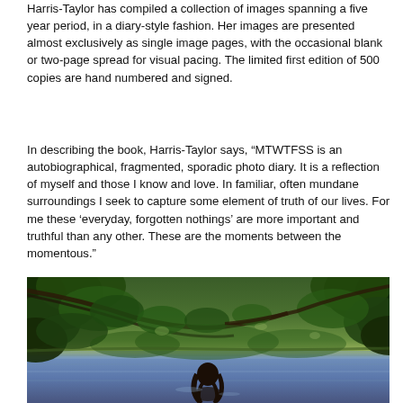Harris-Taylor has compiled a collection of images spanning a five year period, in a diary-style fashion. Her images are presented almost exclusively as single image pages, with the occasional blank or two-page spread for visual pacing. The limited first edition of 500 copies are hand numbered and signed.
In describing the book, Harris-Taylor says, “MTWTFSS is an autobiographical, fragmented, sporadic photo diary. It is a reflection of myself and those I know and love. In familiar, often mundane surroundings I seek to capture some element of truth of our lives. For me these ‘everyday, forgotten nothings’ are more important and truthful than any other. These are the moments between the momentous.”
[Figure (photo): Outdoor photograph showing a person with long hair viewed from behind, surrounded by lush green tree foliage and branches, with a body of water (river or lake) visible in the background]